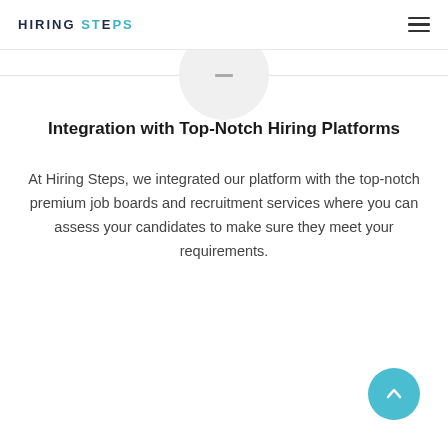HIRING STEPS
[Figure (illustration): Circular icon placeholder at top center of content section]
Integration with Top-Notch Hiring Platforms
At Hiring Steps, we integrated our platform with the top-notch premium job boards and recruitment services where you can assess your candidates to make sure they meet your requirements.